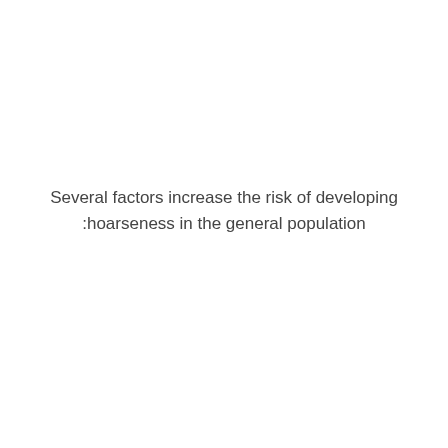Several factors increase the risk of developing hoarseness in the general population: